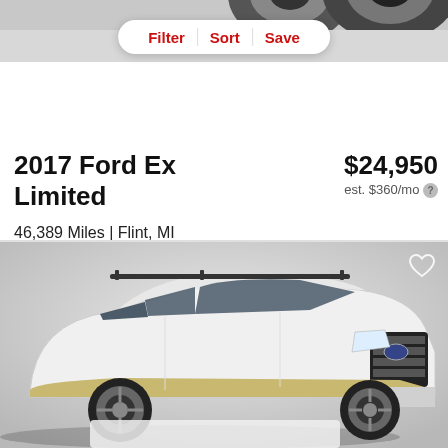[Figure (photo): Partial view of a car wheel/tire visible at the top of the page from a previous listing]
[Figure (screenshot): Filter/Sort/Save navigation bar overlay]
2017 Ford Expedition Limited
$24,950
est. $360/mo
46,389 Miles | Flint, MI
Track Price    Check Availability
[Figure (photo): White 2017 Ford Expedition Limited SUV photographed from the front-left angle on a gray background]